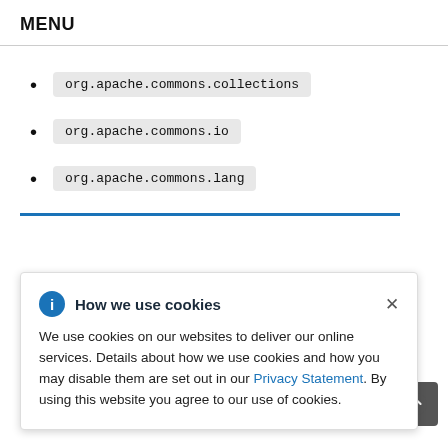MENU
org.apache.commons.collections
org.apache.commons.io
org.apache.commons.lang
How we use cookies
We use cookies on our websites to deliver our online services. Details about how we use cookies and how you may disable them are set out in our Privacy Statement. By using this website you agree to our use of cookies.